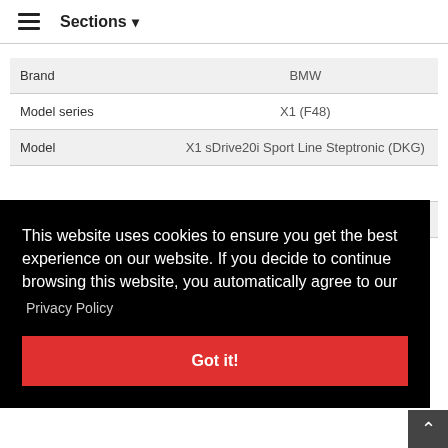≡  Sections ▾
|  |  |
| --- | --- |
| Brand | BMW |
| Model series | X1 (F48) |
| Model | X1 sDrive20i Sport Line Steptronic (DKG) |
This website uses cookies to ensure you get the best experience on our website. If you decide to continue browsing this website, you automatically agree to our
Privacy Policy
Got it!